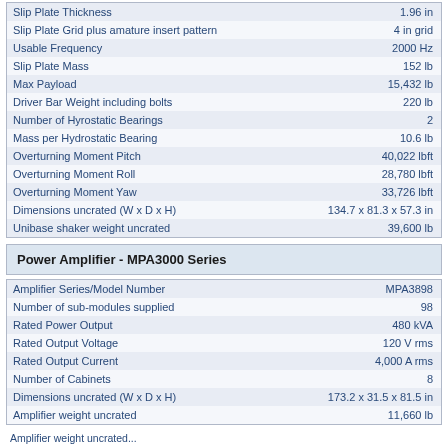| Parameter | Value |
| --- | --- |
| Slip Plate Thickness | 1.96 in |
| Slip Plate Grid plus amature insert pattern | 4 in grid |
| Usable Frequency | 2000 Hz |
| Slip Plate Mass | 152 lb |
| Max Payload | 15,432 lb |
| Driver Bar Weight including bolts | 220 lb |
| Number of Hyrostatic Bearings | 2 |
| Mass per Hydrostatic Bearing | 10.6 lb |
| Overturning Moment Pitch | 40,022 lbft |
| Overturning Moment Roll | 28,780 lbft |
| Overturning Moment Yaw | 33,726 lbft |
| Dimensions uncrated (W x D x H) | 134.7 x 81.3 x 57.3 in |
| Unibase shaker weight uncrated | 39,600 lb |
Power Amplifier - MPA3000 Series
| Parameter | Value |
| --- | --- |
| Amplifier Series/Model Number | MPA3898 |
| Number of sub-modules supplied | 98 |
| Rated Power Output | 480 kVA |
| Rated Output Voltage | 120 V rms |
| Rated Output Current | 4,000 A rms |
| Number of Cabinets | 8 |
| Dimensions uncrated (W x D x H) | 173.2 x 31.5 x 81.5 in |
| Amplifier weight uncrated | 11,660 lb |
Amplifier weight uncrated...